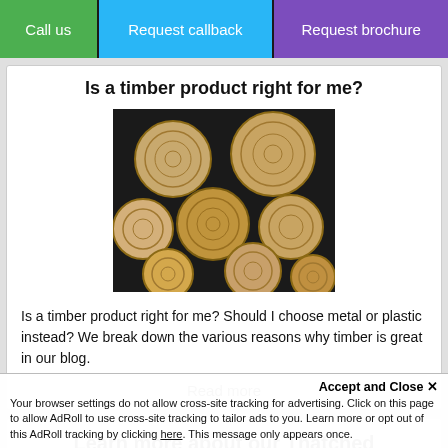Call us | Request callback | Request brochure
Is a timber product right for me?
[Figure (photo): Cross-sections of cut timber logs stacked together, showing wood grain rings on a dark background]
Is a timber product right for me? Should I choose metal or plastic instead? We break down the various reasons why timber is great in our blog.
Read more
Learn more about our Thatched Gazebo foundations
Accept and Close ✕
Your browser settings do not allow cross-site tracking for advertising. Click on this page to allow AdRoll to use cross-site tracking to tailor ads to you. Learn more or opt out of this AdRoll tracking by clicking here. This message only appears once.